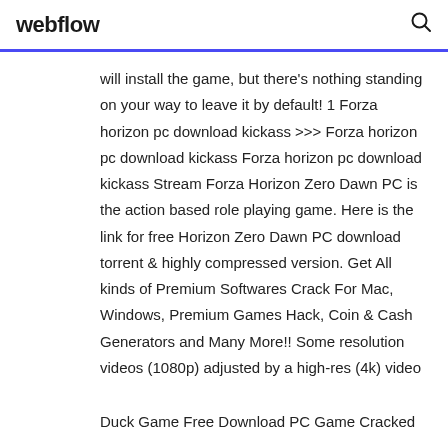webflow
will install the game, but there's nothing standing on your way to leave it by default! 1 Forza horizon pc download kickass >>> Forza horizon pc download kickass Forza horizon pc download kickass Stream Forza Horizon Zero Dawn PC is the action based role playing game. Here is the link for free Horizon Zero Dawn PC download torrent & highly compressed version. Get All kinds of Premium Softwares Crack For Mac, Windows, Premium Games Hack, Coin & Cash Generators and Many More!! Some resolution videos (1080p) adjusted by a high-res (4k) video
Duck Game Free Download PC Game Cracked